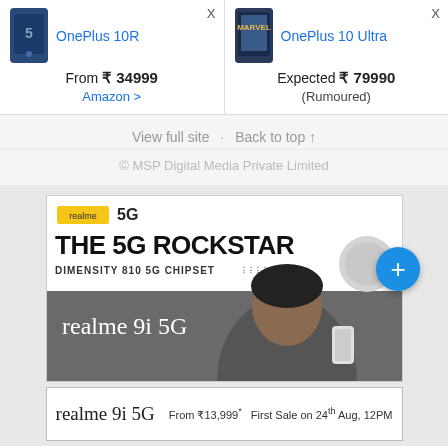[Figure (screenshot): OnePlus 10R product card with phone image, price From ₹ 34999, Amazon link]
[Figure (screenshot): OnePlus 10 Ultra product card with phone image, Expected ₹ 79990 (Rumoured)]
View full site · Back to top ↑
© MSP Digital Media Private Limited
[Figure (advertisement): realme 5G — THE 5G ROCKSTAR — DIMENSITY 810 5G CHIPSET — realme 9i 5G advertisement banner with celebrity photo]
[Figure (advertisement): realme 9i 5G — From ₹13,999* First Sale on 24th Aug, 12PM — bottom banner ad]